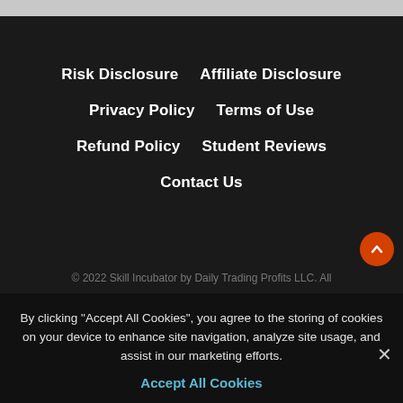Risk Disclosure
Affiliate Disclosure
Privacy Policy
Terms of Use
Refund Policy
Student Reviews
Contact Us
© 2022 Skill Incubator by Daily Trading Profits LLC. All
By clicking "Accept All Cookies", you agree to the storing of cookies on your device to enhance site navigation, analyze site usage, and assist in our marketing efforts.
Accept All Cookies